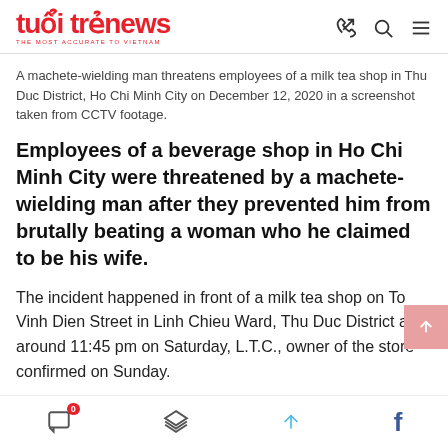tuổi trẻ news — THE MOST ACCURATE TO VIETNAM
A machete-wielding man threatens employees of a milk tea shop in Thu Duc District, Ho Chi Minh City on December 12, 2020 in a screenshot taken from CCTV footage.
Employees of a beverage shop in Ho Chi Minh City were threatened by a machete-wielding man after they prevented him from brutally beating a woman who he claimed to be his wife.
The incident happened in front of a milk tea shop on To Vinh Dien Street in Linh Chieu Ward, Thu Duc District at around 11:45 pm on Saturday, L.T.C., owner of the store confirmed on Sunday.